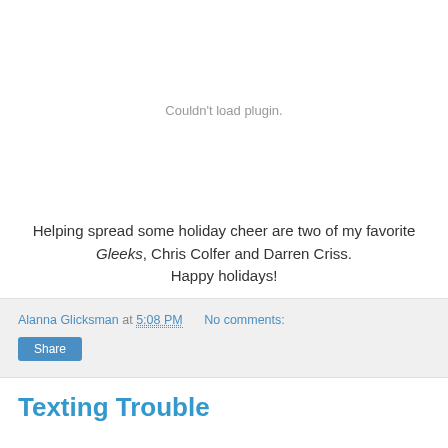[Figure (other): Embedded plugin area showing 'Couldn't load plugin.' error message]
Helping spread some holiday cheer are two of my favorite Gleeks, Chris Colfer and Darren Criss. Happy holidays!
Alanna Glicksman at 5:08 PM    No comments:
Share
Texting Trouble